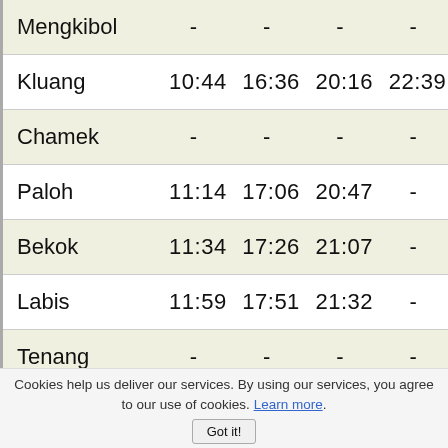| Station | Train 1 | Train 2 | Train 3 | Train 4 |
| --- | --- | --- | --- | --- |
| Mengkibol | - | - | - | - |
| Kluang | 10:44 | 16:36 | 20:16 | 22:39 |
| Chamek | - | - | - | - |
| Paloh | 11:14 | 17:06 | 20:47 | - |
| Bekok | 11:34 | 17:26 | 21:07 | - |
| Labis | 11:59 | 17:51 | 21:32 | - |
| Tenang | - | - | - | - |
Cookies help us deliver our services. By using our services, you agree to our use of cookies. Learn more. Got it!